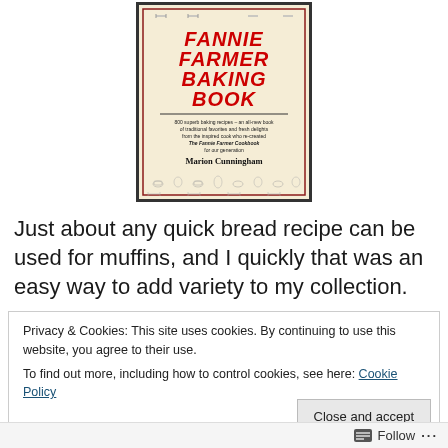[Figure (illustration): Book cover of 'The Fannie Farmer Baking Book' by Marion Cunningham. Red italic title text on cream/beige background with decorative baking illustrations (muffins, rolling pins, bowls). Subtitle text: '800 superb baking recipes – an all-new book of traditional favorites and fresh delights from the inspired cook who re-created The Fannie Farmer Cookbook for our generation'. Author: Marion Cunningham.]
Just about any quick bread recipe can be used for muffins, and I quickly that was an easy way to add variety to my collection.
Privacy & Cookies: This site uses cookies. By continuing to use this website, you agree to their use.
To find out more, including how to control cookies, see here: Cookie Policy
Follow ···